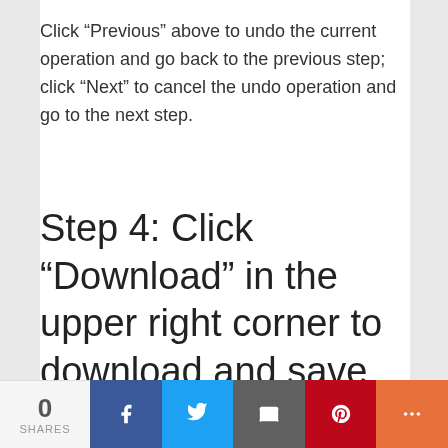Click “Previous” above to undo the current operation and go back to the previous step; click “Next” to cancel the undo operation and go to the next step.
Step 4: Click “Download” in the upper right corner to download and save the watermarked photos; click “Re-Upload” to re-select the new images to upload.
0 SHARES | Facebook | Twitter | Email | Pinterest | More